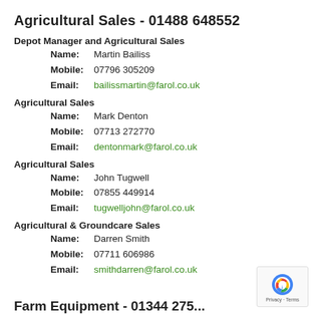Agricultural Sales - 01488 648552
Depot Manager and Agricultural Sales
Name: Martin Bailiss
Mobile: 07796 305209
Email: bailissmartin@farol.co.uk
Agricultural Sales
Name: Mark Denton
Mobile: 07713 272770
Email: dentonmark@farol.co.uk
Agricultural Sales
Name: John Tugwell
Mobile: 07855 449914
Email: tugwelljohn@farol.co.uk
Agricultural & Groundcare Sales
Name: Darren Smith
Mobile: 07711 606986
Email: smithdarren@farol.co.uk